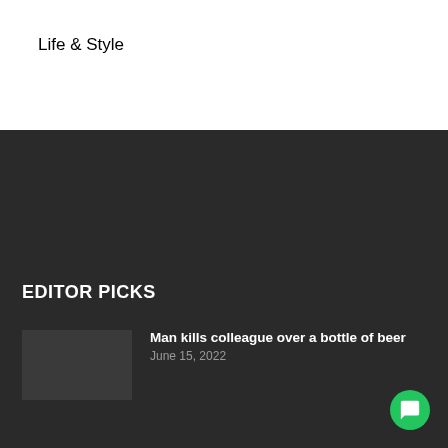Life & Style
EDITOR PICKS
Man kills colleague over a bottle of beer
June 15, 2022
Woman steals lover's car and cash
June 14, 2022
FOOD DELIVERY MAN ASSAULTS CLIENT
June 10, 2022